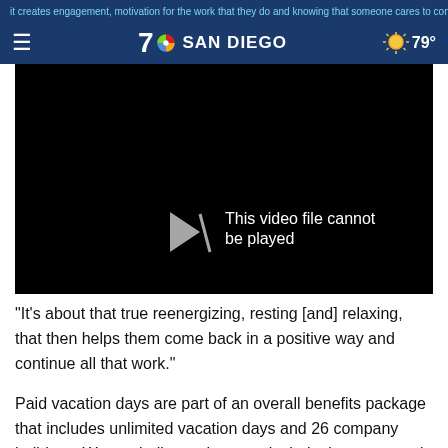it creates engagement, motivation for the work that they do and knowing that someone cares to connect, she said
7 NBC SAN DIEGO | ☀ 79°
[Figure (screenshot): Black video player with error message: This video file cannot be played]
"It's about that true reenergizing, resting [and] relaxing, that then helps them come back in a positive way and continue all that work."
Paid vacation days are part of an overall benefits package that includes unlimited vacation days and 26 company holidays. Warren believes those perks help the company in